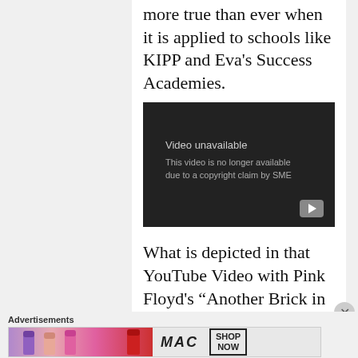more true than ever when it is applied to schools like KIPP and Eva's Success Academies.
[Figure (screenshot): Embedded YouTube video player showing 'Video unavailable - This video is no longer available due to a copyright claim by SME']
What is depicted in that YouTube Video with Pink Floyd's “Another Brick in the Wall” and schools?
Advertisements
[Figure (photo): MAC cosmetics advertisement showing colorful lipsticks with 'MAC' logo and 'SHOP NOW' button]